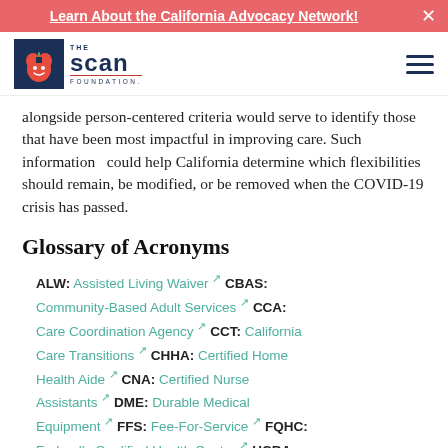Learn About the California Advocacy Network!
[Figure (logo): The SCAN Foundation logo — blue box with apple icon, text 'THE scan FOUNDATION']
alongside person-centered criteria would serve to identify those that have been most impactful in improving care. Such information could help California determine which flexibilities should remain, be modified, or be removed when the COVID-19 crisis has passed.
Glossary of Acronyms
ALW: Assisted Living Waiver CBAS: Community-Based Adult Services CCA: Care Coordination Agency CCT: California Care Transitions CHHA: Certified Home Health Aide CNA: Certified Nurse Assistants DME: Durable Medical Equipment FFS: Fee-For-Service FQHC: Federally Qualified Health Center HCBA: Home and Community-Based Alternatives Waiver HCBS: Home- and Community-Based Services HHS: Home Health LTC: L Vocat Servic Medic Trans Occu All-Inc Health Skilled Care